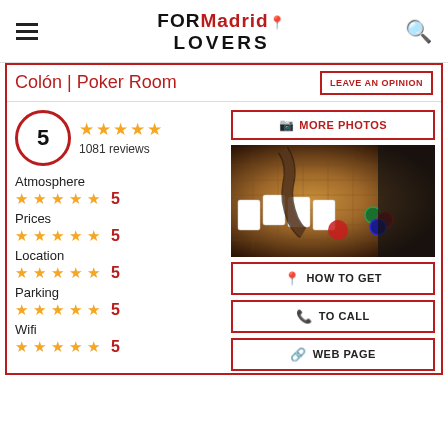FORMadrid LOVERS
Colón | Poker Room
LEAVE AN OPINION
5 stars, 1081 reviews
MORE PHOTOS
Atmosphere 5
Prices 5
Location 5
Parking 5
Wifi 5
[Figure (photo): Photo of a poker/casino table with cards and chips, hands dealing cards on a felt surface]
HOW TO GET
TO CALL
WEB PAGE